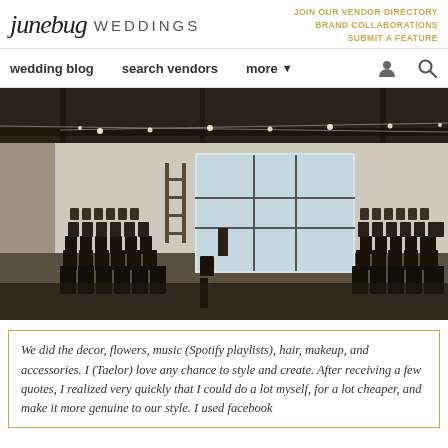junebug WEDDINGS | JOIN OUR VENDOR DIRECTORY | BRAND COLLABORATIONS | SUBMIT A FEATURE
wedding blog   search vendors   more
[Figure (photo): Interior of an industrial wedding venue with white brick walls, string lights hanging from the ceiling, rows of dark folding chairs arranged in two sections with a center aisle, and tall windows at the far end letting in natural light.]
We did the decor, flowers, music (Spotify playlists), hair, makeup, and accessories. I (Taelor) love any chance to style and create. After receiving a few quotes, I realized very quickly that I could do a lot myself, for a lot cheaper, and make it more genuine to our style. I used facebook